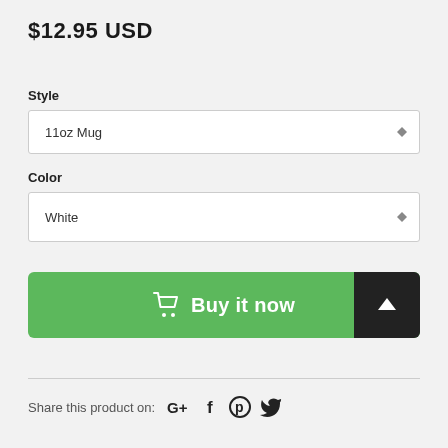$12.95 USD
Style
11oz Mug
Color
White
[Figure (other): Green 'Buy it now' button with shopping cart icon and black scroll-to-top button]
Share this product on: